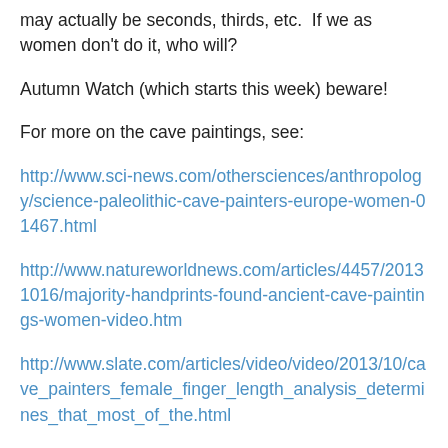may actually be seconds, thirds, etc. If we as women don't do it, who will?
Autumn Watch (which starts this week) beware!
For more on the cave paintings, see:
http://www.sci-news.com/othersciences/anthropology/science-paleolithic-cave-painters-europe-women-01467.html
http://www.natureworldnews.com/articles/4457/20131016/majority-handprints-found-ancient-cave-paintings-women-video.htm
http://www.slate.com/articles/video/video/2013/10/cave_painters_female_finger_length_analysis_determines_that_most_of_the.html